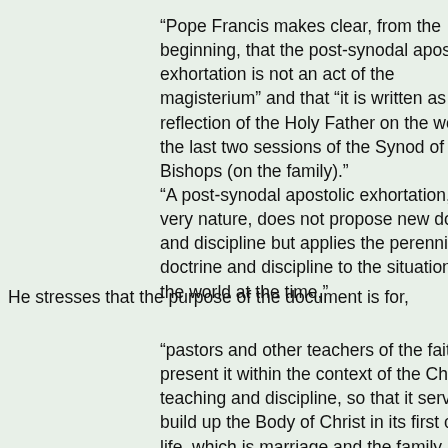“Pope Francis makes clear, from the beginning, that the post-synodal apostolic exhortation is not an act of the magisterium” and that “it is written as a reflection of the Holy Father on the work of the last two sessions of the Synod of Bishops (on the family).” “A post-synodal apostolic exhortation, by its very nature, does not propose new doctrine and discipline but applies the perennial doctrine and discipline to the situation of the world at the time,”
He stresses that the purpose of the document is for,
"pastors and other teachers of the faith is to present it within the context of the Church’s teaching and discipline, so that it serves to build up the Body of Christ in its first cell of life, which is marriage and the family.  In other words, the post-synodal apostolic exhortation can only be